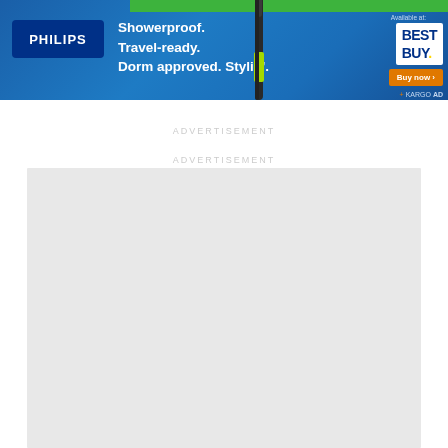[Figure (infographic): Philips advertisement banner with blue gradient background. Shows Philips logo (white text on dark blue rectangle), tagline 'Showerproof. Travel-ready. Dorm approved. Stylin.' in white text, a Philips razor/trimmer product image, Available at Best Buy logo, and Buy now button. Bottom right has KARGO AD branding.]
ADVERTISEMENT
ADVERTISEMENT
[Figure (other): Light gray rectangular advertisement placeholder block]